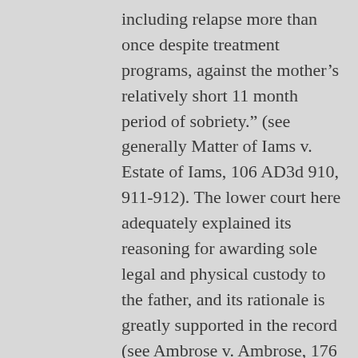including relapse more than once despite treatment programs, against the mother’s relatively short 11 month period of sobriety.” (see generally Matter of Iams v. Estate of Iams, 106 AD3d 910, 911-912). The lower court here adequately explained its reasoning for awarding sole legal and physical custody to the father, and its rationale is greatly supported in the record (see Ambrose v. Ambrose, 176 AD3d at 1150-1151).
The Second Department rejects the contention of the mother and the